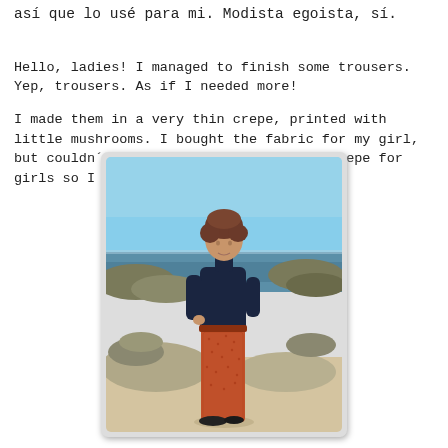así que lo usé para mi. Modista egoista, sí.
Hello, ladies! I managed to finish some trousers. Yep, trousers. As if I needed more!
I made them in a very thin crepe, printed with little mushrooms. I bought the fabric for my girl, but couldn´t think of anything made of crepe for girls so I selfishly used it for myself
[Figure (photo): A woman standing on a rocky beach, wearing dark navy turtleneck top and rust/orange wide-leg trousers with a small print pattern, with blue sea and sky in the background.]